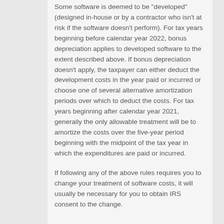Some software is deemed to be "developed" (designed in-house or by a contractor who isn't at risk if the software doesn't perform). For tax years beginning before calendar year 2022, bonus depreciation applies to developed software to the extent described above. If bonus depreciation doesn't apply, the taxpayer can either deduct the development costs in the year paid or incurred or choose one of several alternative amortization periods over which to deduct the costs. For tax years beginning after calendar year 2021, generally the only allowable treatment will be to amortize the costs over the five-year period beginning with the midpoint of the tax year in which the expenditures are paid or incurred.
If following any of the above rules requires you to change your treatment of software costs, it will usually be necessary for you to obtain IRS consent to the change.